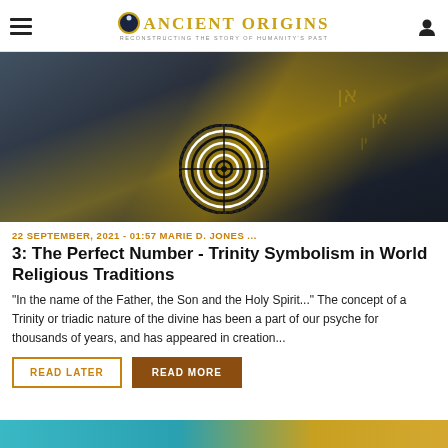Ancient Origins - Reconstructing the story of humanity's past
[Figure (photo): Dark atmospheric hero image with mystical faces, Hebrew script characters, and a concentric circle target symbol in the center bottom]
22 SEPTEMBER, 2021 - 01:57 MARIE D. JONES ...
3: The Perfect Number - Trinity Symbolism in World Religious Traditions
“In the name of the Father, the Son and the Holy Spirit...” The concept of a Trinity or triadic nature of the divine has been a part of our psyche for thousands of years, and has appeared in creation...
READ LATER    READ MORE